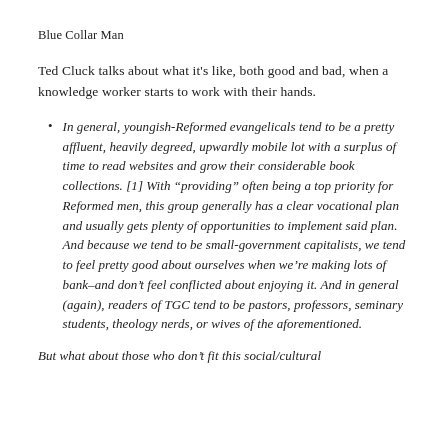Blue Collar Man
Ted Cluck talks about what it's like, both good and bad, when a knowledge worker starts to work with their hands.
In general, youngish-Reformed evangelicals tend to be a pretty affluent, heavily degreed, upwardly mobile lot with a surplus of time to read websites and grow their considerable book collections. [1] With “providing” often being a top priority for Reformed men, this group generally has a clear vocational plan and usually gets plenty of opportunities to implement said plan. And because we tend to be small-government capitalists, we tend to feel pretty good about ourselves when we’re making lots of bank–and don’t feel conflicted about enjoying it. And in general (again), readers of TGC tend to be pastors, professors, seminary students, theology nerds, or wives of the aforementioned.
But what about those who don’t fit this social/cultural